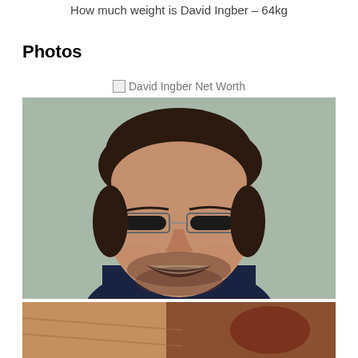How much weight is David Ingber – 64kg
Photos
David Ingber Net Worth
[Figure (photo): Portrait photo of David Ingber, a smiling man with glasses, short dark hair, and a beard, wearing a dark jacket, photographed against a light green/grey background.]
[Figure (photo): Partial second photo showing what appears to be a close-up image, cropped at bottom of page.]